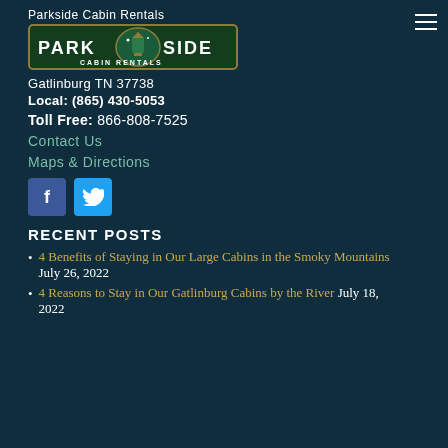Parkside Cabin Rentals
[Figure (logo): Parkside Cabin Rentals logo with green oval emblem and text PARK SIDE CABIN RENTALS]
Gatlinburg TN 37738
Local: (865) 430-5053
Toll Free: 866-808-7525
Contact Us
Maps & Directions
[Figure (other): Facebook and Twitter social media buttons]
RECENT POSTS
4 Benefits of Staying in Our Large Cabins in the Smoky Mountains July 26, 2022
4 Reasons to Stay in Our Gatlinburg Cabins by the River July 18, 2022